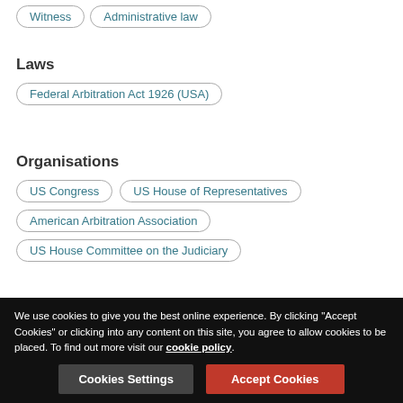Witness
Administrative law
Laws
Federal Arbitration Act 1926 (USA)
Organisations
US Congress
US House of Representatives
American Arbitration Association
US House Committee on the Judiciary
Popular articles from this firm
We use cookies to give you the best online experience. By clicking "Accept Cookies" or clicking into any content on this site, you agree to allow cookies to be placed. To find out more visit our cookie policy.